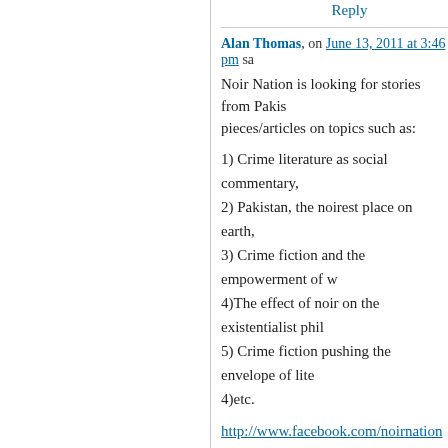Reply
Alan Thomas, on June 13, 2011 at 3:46 pm said:
Noir Nation is looking for stories from Pakistan... pieces/articles on topics such as:
1) Crime literature as social commentary,
2) Pakistan, the noirest place on earth,
3) Crime fiction and the empowerment of w...
4)The effect of noir on the existentialist phil...
5) Crime fiction pushing the envelope of lite...
4)etc.
http://www.facebook.com/noirnation Give us... http://www.youtube.com/results?search_qu... Editor: alan@noirnation.com
Liked by 1 person
Reply
Alishba Siddiki, on June 22, 2011 at 11:29 am said:
Dear Ms. Beena,
WE have contacted you at twitter also... kind...